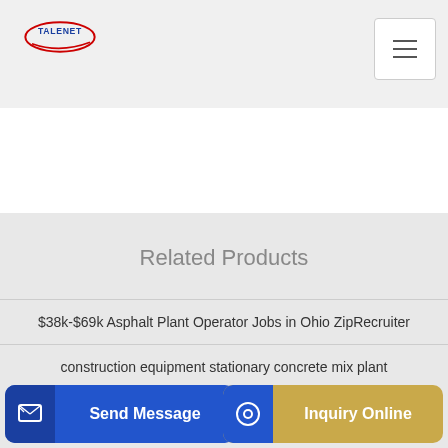[Figure (logo): Talenet company logo with red and blue colors, oval/swoosh design with TALENET text]
Related Products
$38k-$69k Asphalt Plant Operator Jobs in Ohio ZipRecruiter
construction equipment stationary concrete mix plant
713 C…
Send Message
Inquiry Online